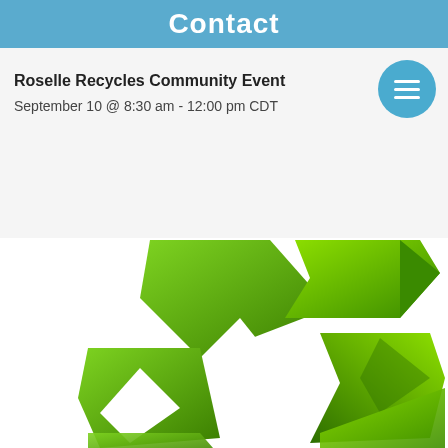Contact
Roselle Recycles Community Event
September 10 @ 8:30 am - 12:00 pm CDT
[Figure (illustration): Green recycling symbol made of three large green 3D arrows forming a triangle, rendered as abstract geometric shapes on white background.]
Review our safety protocols and accepted items before your visit.